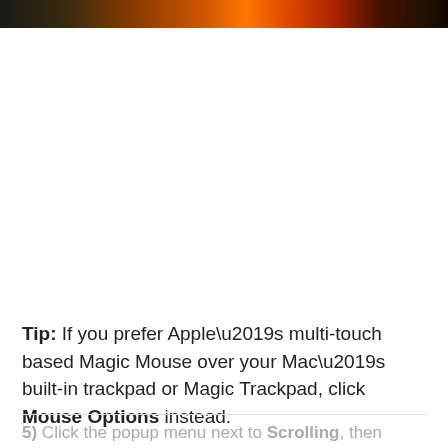[Figure (photo): A partial image strip at the top of the page showing what appears to be flames or fire in dark orange and red tones against a dark background.]
Tip: If you prefer Apple’s multi-touch based Magic Mouse over your Mac’s built-in trackpad or Magic Trackpad, click Mouse Options instead.
5) Click the popup menu next to Scrolling, then